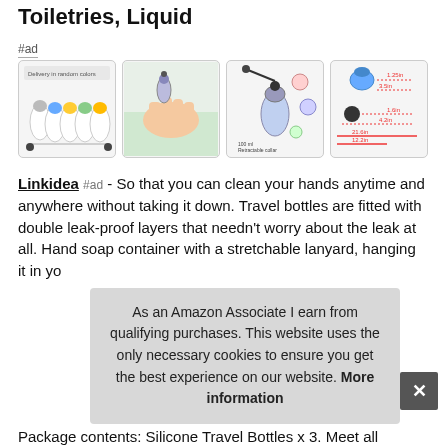Toiletries, Liquid
#ad
[Figure (photo): Four product images showing silicone travel bottles in various colors with keychain/lanyard accessories]
Linkidea #ad - So that you can clean your hands anytime and anywhere without taking it down. Travel bottles are fitted with double leak-proof layers that needn't worry about the leak at all. Hand soap container with a stretchable lanyard, hanging it in yo
As an Amazon Associate I earn from qualifying purchases. This website uses the only necessary cookies to ensure you get the best experience on our website. More information
Package contents: Silicone Travel Bottles x 3. Meet all